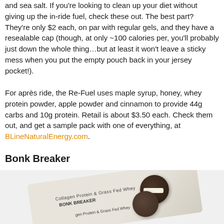and sea salt. If you're looking to clean up your diet without giving up the in-ride fuel, check these out. The best part? They're only $2 each, on par with regular gels, and they have a resealable cap (though, at only ~100 calories per, you'll probably just down the whole thing…but at least it won't leave a sticky mess when you put the empty pouch back in your jersey pocket!).
For après ride, the Re-Fuel uses maple syrup, honey, whey protein powder, apple powder and cinnamon to provide 44g carbs and 10g protein. Retail is about $3.50 each. Check them out, and get a sample pack with one of everything, at BLineNaturalEnergy.com.
Bonk Breaker
[Figure (photo): Photo of a Bonk Breaker energy bar package, showing a white/cream wrapper with text 'Collagen Protein & Grass Fed Whey' and chocolate sandwich cookies on top, angled diagonally.]